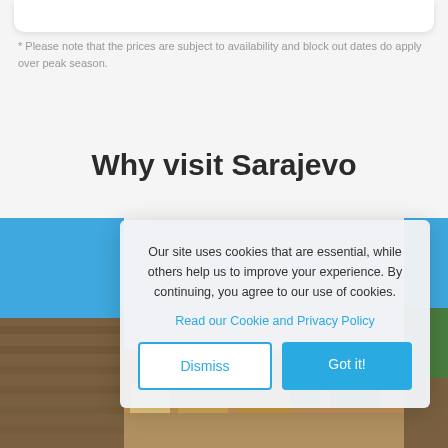* Please note that the prices are subject to availability and block out dates do apply over peak season.
Why visit Sarajevo
[Figure (photo): Photo of Sarajevo showing historic wooden market stalls with blue sky above, and a hillside town view with red-roofed buildings and green trees]
Our site uses cookies that are essential, while others help us to improve your experience. By continuing, you agree to our use of cookies.
Read our Cookie and Privacy Policy
Dismiss
Got it!